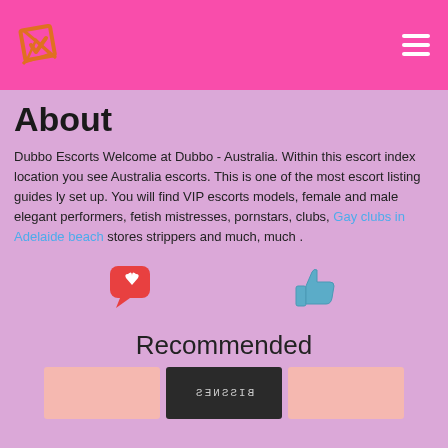About
Dubbo Escorts Welcome at Dubbo - Australia. Within this escort index location you see Australia escorts. This is one of the most escort listing guides ly set up. You will find VIP escorts models, female and male elegant performers, fetish mistresses, pornstars, clubs, Gay clubs in Adelaide beach stores strippers and much, much .
[Figure (illustration): Red heart speech bubble icon and blue thumbs up icon]
Recommended
[Figure (photo): Three thumbnail cards: pink card, dark card with reflected BISSNES text, pink card]